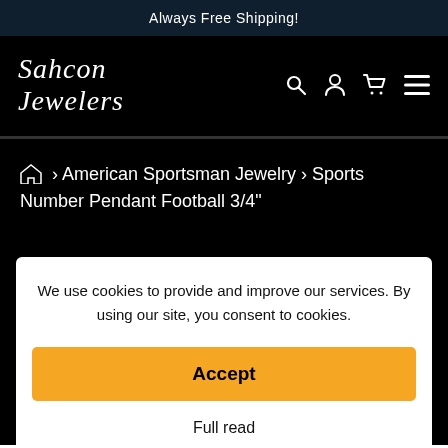Always Free Shipping!
[Figure (logo): Sahcon Jewelers cursive script logo in white on black background]
⌂ › American Sportsman Jewelry › Sports Number Pendant Football 3/4"
We use cookies to provide and improve our services. By using our site, you consent to cookies.
Accept
Full read